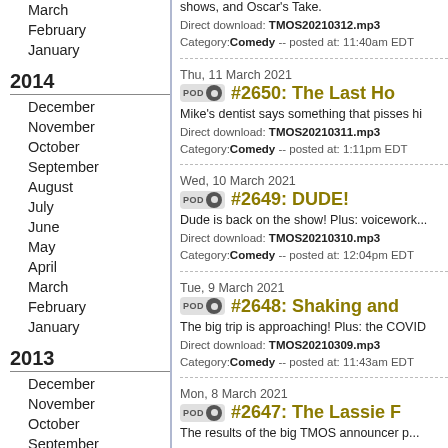March
February
January
2014
December
November
October
September
August
July
June
May
April
March
February
January
2013
December
November
October
September
August
July
June
May
April
March
February
January
shows, and Oscar's Take.
Direct download: TMOS20210312.mp3
Category:Comedy -- posted at: 11:40am EDT
Thu, 11 March 2021
#2650: The Last Ho...
Mike's dentist says something that pisses hi...
Direct download: TMOS20210311.mp3
Category:Comedy -- posted at: 1:11pm EDT
Wed, 10 March 2021
#2649: DUDE!
Dude is back on the show! Plus: voicework...
Direct download: TMOS20210310.mp3
Category:Comedy -- posted at: 12:04pm EDT
Tue, 9 March 2021
#2648: Shaking and...
The big trip is approaching! Plus: the COVID...
Direct download: TMOS20210309.mp3
Category:Comedy -- posted at: 11:43am EDT
Mon, 8 March 2021
#2647: The Lassie F...
The results of the big TMOS announcer p...